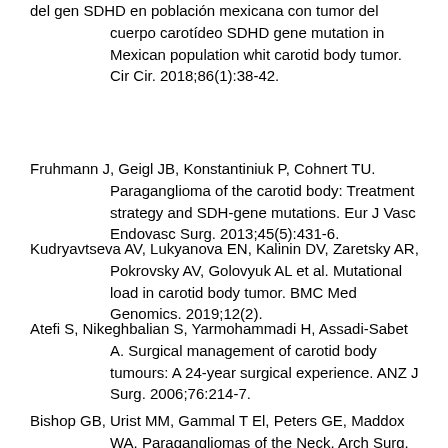del gen SDHD en población mexicana con tumor del cuerpo carotídeo SDHD gene mutation in Mexican population whit carotid body tumor. Cir Cir. 2018;86(1):38-42.
Fruhmann J, Geigl JB, Konstantiniuk P, Cohnert TU. Paraganglioma of the carotid body: Treatment strategy and SDH-gene mutations. Eur J Vasc Endovasc Surg. 2013;45(5):431-6.
Kudryavtseva AV, Lukyanova EN, Kalinin DV, Zaretsky AR, Pokrovsky AV, Golovyuk AL et al. Mutational load in carotid body tumor. BMC Med Genomics. 2019;12(2).
Atefi S, Nikeghbalian S, Yarmohammadi H, Assadi-Sabet A. Surgical management of carotid body tumours: A 24-year surgical experience. ANZ J Surg. 2006;76:214-7.
Bishop GB, Urist MM, Gammal T El, Peters GE, Maddox WA. Paragangliomas of the Neck. Arch Surg. 1992;127(12):1441-5.
Cobb AN, Barkat A, Daungjaiboon W, Halandras